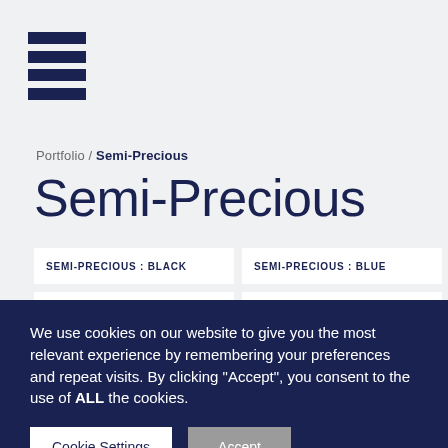[Figure (logo): Hamburger menu icon with three dark navy horizontal bars]
Portfolio / Semi-Precious
Semi-Precious
SEMI-PRECIOUS : BLACK
SEMI-PRECIOUS : BLUE
SEMI-PRECIOUS : BROWN
SEMI-PRECIOUS : GREEN
We use cookies on our website to give you the most relevant experience by remembering your preferences and repeat visits. By clicking “Accept”, you consent to the use of ALL the cookies.
Cookie Settings
Accept